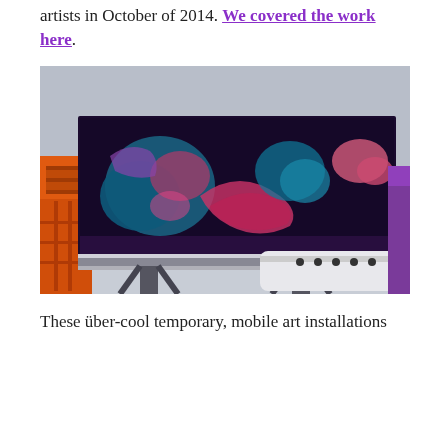artists in October of 2014. We covered the work here.
[Figure (photo): A large outdoor billboard mounted on a scaffold/lift structure, painted with colorful dark mural art featuring animals and abstract shapes in pink, teal, and purple on a black background. An airplane and purple structure are partially visible in the background.]
These über-cool temporary, mobile art installations